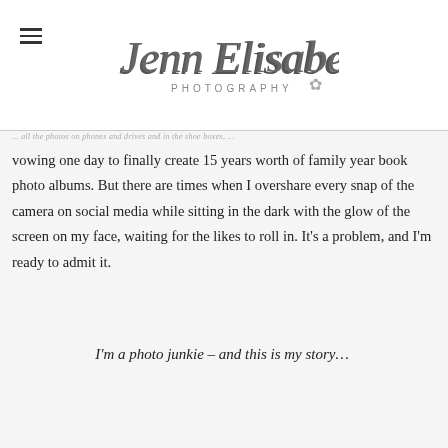[Figure (logo): Jenn Elisabeth Photography logo with cursive script and small decorative flower/asterisk icon]
...all the photos on phones and drives and in the shoe boxes, vowing one day to finally create 15 years worth of family year book photo albums. But there are times when I overshare every snap of the camera on social media while sitting in the dark with the glow of the screen on my face, waiting for the likes to roll in. It's a problem, and I'm ready to admit it.
I'm a photo junkie – and this is my story…